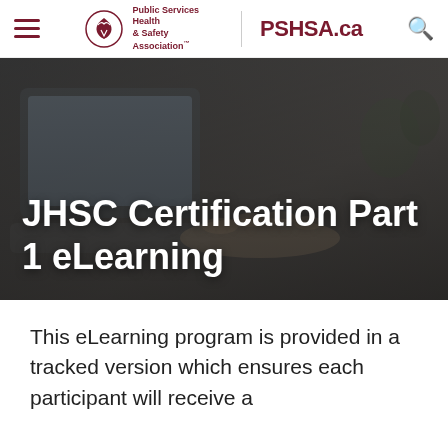Public Services Health & Safety Association™ | PSHSA.ca
[Figure (photo): Person's hands typing on a laptop keyboard, dark overlay hero banner image]
JHSC Certification Part 1 eLearning
This eLearning program is provided in a tracked version which ensures each participant will receive a